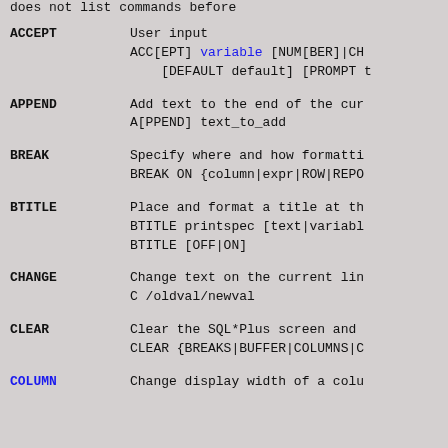does not list commands before
ACCEPT - User input
ACC[EPT] variable [NUM[BER]|CH...
[DEFAULT default] [PROMPT t...
APPEND - Add text to the end of the cur...
A[PPEND] text_to_add
BREAK - Specify where and how formatti...
BREAK ON {column|expr|ROW|REPO...
BTITLE - Place and format a title at th...
BTITLE printspec [text|variabl...
BTITLE [OFF|ON]
CHANGE - Change text on the current lin...
C /oldval/newval
CLEAR - Clear the SQL*Plus screen and ...
CLEAR {BREAKS|BUFFER|COLUMNS|C...
COLUMN - Change display width of a colu...